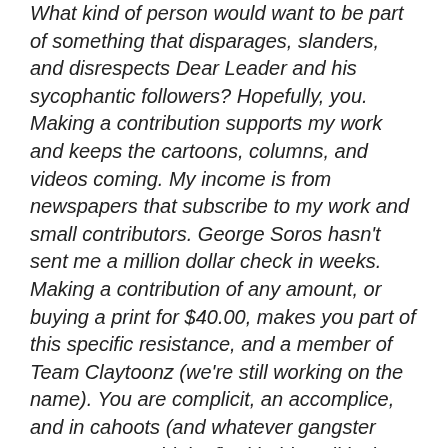What kind of person would want to be part of something that disparages, slanders, and disrespects Dear Leader and his sycophantic followers? Hopefully, you. Making a contribution supports my work and keeps the cartoons, columns, and videos coming. My income is from newspapers that subscribe to my work and small contributors. George Soros hasn't sent me a million dollar check in weeks. Making a contribution of any amount, or buying a print for $40.00, makes you part of this specific resistance, and a member of Team Claytoonz (we're still working on the name). You are complicit, an accomplice, and in cahoots (and whatever gangster terms we can think of) with this political satire pointing out that the stupid emperor has no clothes. Contributions can be made through PayPal, checks, and wads of cash exchanged in back alleys.